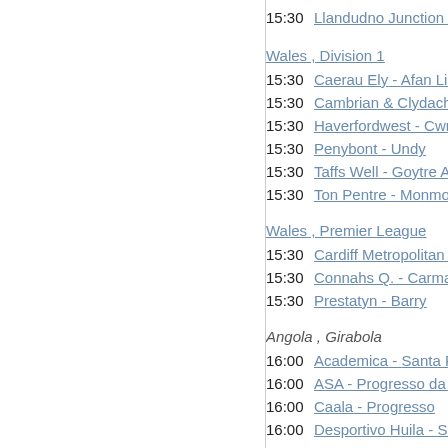15:30  Llandudno Junction - Porthma...
Wales , Division 1
15:30  Caerau Ely - Afan Lido
15:30  Cambrian & Clydach - Cwmamma...
15:30  Haverfordwest - Cwmbran C...
15:30  Penybont - Undy
15:30  Taffs Well - Goytre AFC
15:30  Ton Pentre - Monmouth
Wales , Premier League
15:30  Cardiff Metropolitan - Bangor...
15:30  Connahs Q. - Carmarthen T...
15:30  Prestatyn - Barry
Angola , Girabola
16:00  Academica - Santa Rita
16:00  ASA - Progresso da Lunda ...
16:00  Caala - Progresso
16:00  Desportivo Huila - Sagrad...